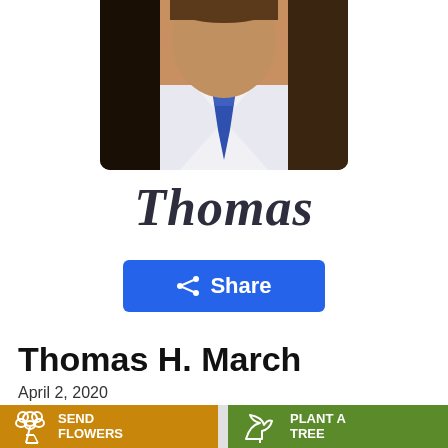[Figure (photo): Partial photo of a man in a white shirt and blue tie, cropped to show neck/chest area]
Thomas
Share
Thomas H. March
April 2, 2020
SEND FLOWERS
PLANT A TREE